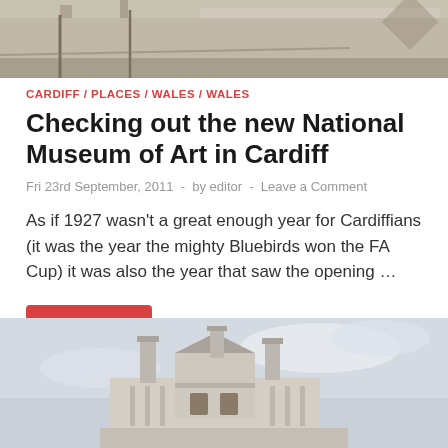[Figure (photo): Top partial photo of a building interior or exterior with structural elements visible]
CARDIFF / PLACES / WALES / WALES
Checking out the new National Museum of Art in Cardiff
Fri 23rd September, 2011  -  by editor  -  Leave a Comment
As if 1927 wasn't a great enough year for Cardiffians (it was the year the mighty Bluebirds won the FA Cup) it was also the year that saw the opening …
READ MORE
[Figure (photo): Exterior photo of a classical stone building with chimney stacks against a cloudy sky]